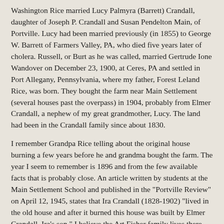Washington Rice married Lucy Palmyra (Barrett) Crandall, daughter of Joseph P. Crandall and Susan Pendelton Main, of Portville. Lucy had been married previously (in 1855) to George W. Barrett of Farmers Valley, PA, who died five years later of cholera. Russell, or Burt as he was called, married Gertrude Ione Wandover on December 23, 1900, at Ceres, PA and settled in Port Allegany, Pennsylvania, where my father, Forest Leland Rice, was born. They bought the farm near Main Settlement (several houses past the overpass) in 1904, probably from Elmer Crandall, a nephew of my great grandmother, Lucy. The land had been in the Crandall family since about 1830.
I remember Grandpa Rice telling about the original house burning a few years before he and grandma bought the farm. The year I seem to remember is 1896 and from the few available facts that is probably close. An article written by students at the Main Settlement School and published in the "Portville Review" on April 12, 1945, states that Ira Crandall (1828-1902) "lived in the old house and after it burned this house was built by Elmer Crandall, Ira's son." I believe the Art Fisher family lives there now.